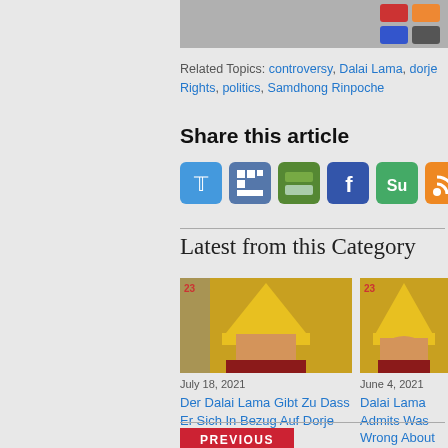[Figure (photo): Top image strip partially visible]
Related Topics: controversy, Dalai Lama, dorje Rights, politics, Samdhong Rinpoche
Share this article
[Figure (infographic): Share icons: Twitter, StumbleUpon, Delicious, Facebook, Reddit, RSS, Google+]
Latest from this Category
[Figure (photo): Photo of Dalai Lama wearing yellow hat - left article]
July 18, 2021
Der Dalai Lama Gibt Zu Dass Er Sich In Bezug Auf Dorje Shugden Geirrt Hat
[Figure (photo): Photo of Dalai Lama wearing yellow hat - right article]
June 4, 2021
Dalai Lama Admits Was Wrong About Dorje Shugden
PREVIOUS
Ven' Geshe Kelsang Gyatso Talking about the Sadhana Quick Path to Great Bliss and Je...